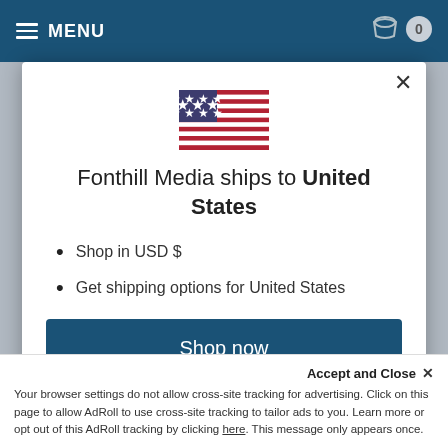MENU
[Figure (illustration): US flag emoji illustration]
Fonthill Media ships to United States
Shop in USD $
Get shipping options for United States
Shop now
Change shipping country
Accept and Close ×
Your browser settings do not allow cross-site tracking for advertising. Click on this page to allow AdRoll to use cross-site tracking to tailor ads to you. Learn more or opt out of this AdRoll tracking by clicking here. This message only appears once.